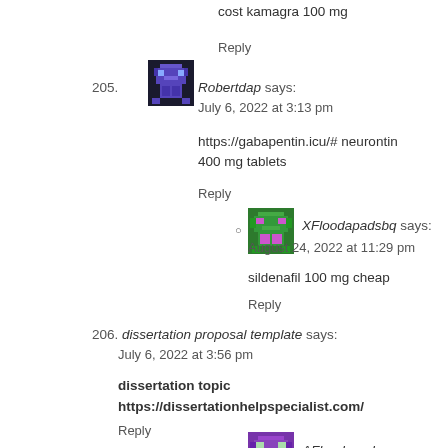cost kamagra 100 mg
Reply
205. Robertdap says:
July 6, 2022 at 3:13 pm
https://gabapentin.icu/# neurontin 400 mg tablets
Reply
XFloodapadsbq says:
August 24, 2022 at 11:29 pm
sildenafil 100 mg cheap
Reply
206. dissertation proposal template says:
July 6, 2022 at 3:56 pm
dissertation topic
https://dissertationhelpspecialist.com/
Reply
AFloodapadsne says:
August 27, 2022 at 6:06 pm